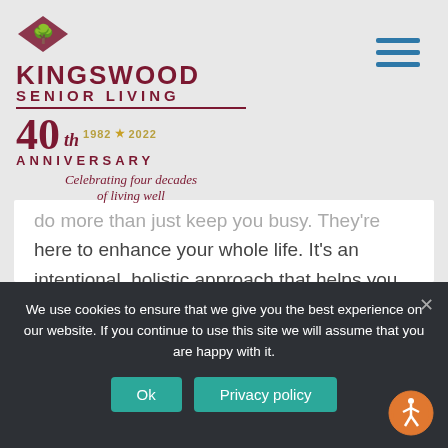[Figure (logo): Kingswood Senior Living 40th Anniversary logo with tree emblem, maroon text, and tagline 'Celebrating four decades of living well']
do more than just keep you busy. They're here to enhance your whole life. It's an intentional, holistic approach that helps you live healthier and happier. And, of course, you have plenty of opportunities to relax and enjoy the simple pleasures in life, like spending time with friends and family.
We use cookies to ensure that we give you the best experience on our website. If you continue to use this site we will assume that you are happy with it.
Ok
Privacy policy